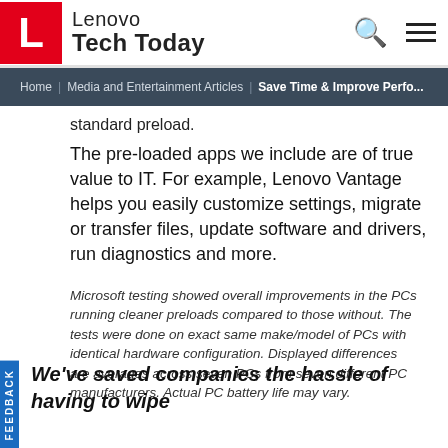Lenovo Tech Today
Home | Media and Entertainment Articles | Save Time & Improve Perfo...
standard preload.
The pre-loaded apps we include are of true value to IT. For example, Lenovo Vantage helps you easily customize settings, migrate or transfer files, update software and drivers, run diagnostics and more.
Microsoft testing showed overall improvements in the PCs running cleaner preloads compared to those without. The tests were done on exact same make/model of PCs with identical hardware configuration. Displayed differences are averages across seven PCs from seven different PC manufacturers. Actual PC battery life may vary.
We've saved companies the hassle of having to wipe